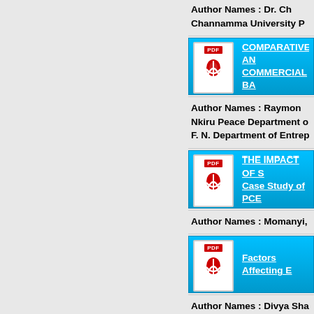Author Names : Dr. Cha... Channamma University P...
[Figure (other): PDF icon link bar with title: COMPARATIVE AN... COMMERCIAL BA...]
Author Names : Raymond... Nkiru Peace Department o... F. N. Department of Entrep...
[Figure (other): PDF icon link bar with title: THE IMPACT OF S... Case Study of PCE...]
Author Names : Momanyi,...
[Figure (other): PDF icon link bar with title: Factors Affecting E...]
Author Names : Divya Sha...
[Figure (other): PDF icon link bar with title: FOLK-RELIGION O...]